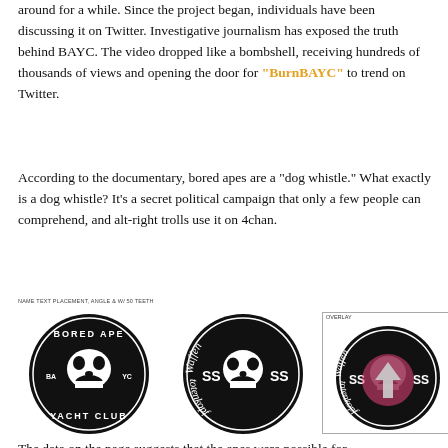around for a while. Since the project began, individuals have been discussing it on Twitter. Investigative journalism has exposed the truth behind BAYC. The video dropped like a bombshell, receiving hundreds of thousands of views and opening the door for "BurnBAYC" to trend on Twitter.
According to the documentary, bored apes are a “dog whistle.” What exactly is a dog whistle? It’s a secret political campaign that only a few people can comprehend, and alt-right trolls use it on 4chan.
[Figure (photo): Three circular images side by side. Left: Black circular badge with skull reading 'BORED APE YACHT CLUB' with 'BA YC' text and label 'NAME TEXT PLACEMENT, ANGLE & W/ 50 TEETH'. Middle: Black circular badge with skull reading 'Waffen totenkopf' with SS lightning bolt symbols. Right: Overlay comparison of the two badges labeled 'OVERLAY' showing them superimposed with a pink arrow watermark.]
The data on the page suggests that the apes were possible for